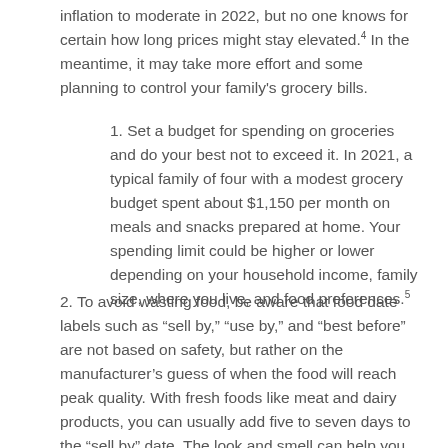inflation to moderate in 2022, but no one knows for certain how long prices might stay elevated.4 In the meantime, it may take more effort and some planning to control your family's grocery bills.
1. Set a budget for spending on groceries and do your best not to exceed it. In 2021, a typical family of four with a modest grocery budget spent about $1,150 per month on meals and snacks prepared at home. Your spending limit could be higher or lower depending on your household income, family size, where you live, and food preferences.5
2. To avoid wasting food, be aware that food date labels such as “sell by,” “use by,” and “best before” are not based on safety, but rather on the manufacturer’s guess of when the food will reach peak quality. With fresh foods like meat and dairy products, you can usually add five to seven days to the “sell by” date. The look and smell can help you determine whether food is still fresh, and freezing